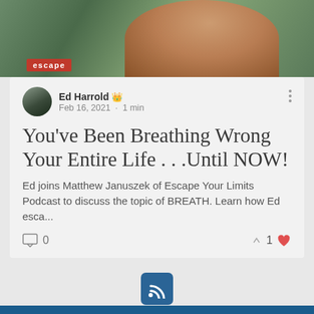[Figure (photo): Top banner image showing a person smiling outdoors with green foliage, with an 'escape' red badge overlay in the lower left]
Ed Harrold 👑
Feb 16, 2021 · 1 min
You've Been Breathing Wrong Your Entire Life . . .Until NOW!
Ed joins Matthew Januszek of Escape Your Limits Podcast to discuss the topic of BREATH. Learn how Ed esca...
0   1 ❤
[Figure (logo): RSS feed icon in blue square]